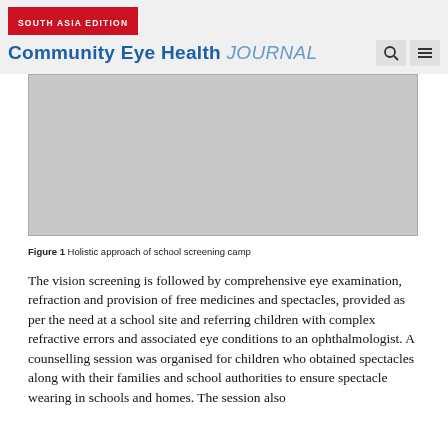SOUTH ASIA EDITION
Community Eye Health JOURNAL
[Figure (photo): Gray placeholder image representing a holistic approach of school screening camp]
Figure 1 Holistic approach of school screening camp
The vision screening is followed by comprehensive eye examination, refraction and provision of free medicines and spectacles, provided as per the need at a school site and referring children with complex refractive errors and associated eye conditions to an ophthalmologist. A counselling session was organised for children who obtained spectacles along with their families and school authorities to ensure spectacle wearing in schools and homes. The session also